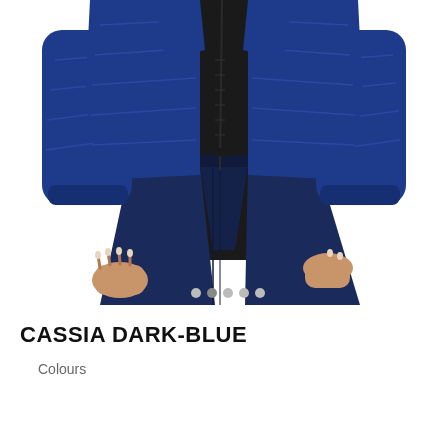[Figure (photo): A woman wearing a dark navy blue quilted puffer jacket open at the front, showing a black top underneath, paired with dark blue jeans. The photo is cropped to show the torso and partial arms/hands. White background. Navigation dots visible at bottom of image area.]
CASSIA DARK-BLUE
Colours